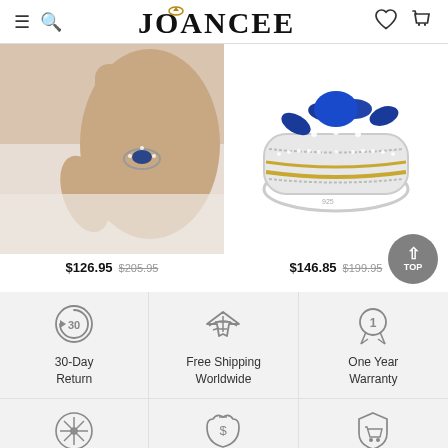JOANCEE
[Figure (photo): Left product: hand wearing a blue sapphire oval ring with diamond halo, on white fabric background. Right product: elaborate blue sapphire and diamond wide band ring on white background.]
$126.95  $205.95
$146.85  $199.95
[Figure (infographic): 30-Day Return icon: circular arrow with number 30]
30-Day Return
[Figure (infographic): Free Shipping Worldwide icon: airplane]
Free Shipping Worldwide
[Figure (infographic): One Year Warranty icon: medal with number 1]
One Year Warranty
[Figure (infographic): Bottom row left icon: snowflake/custom design]
[Figure (infographic): Bottom row center icon: money bag with dollar sign]
[Figure (infographic): Bottom row right icon: shield with shopping cart]